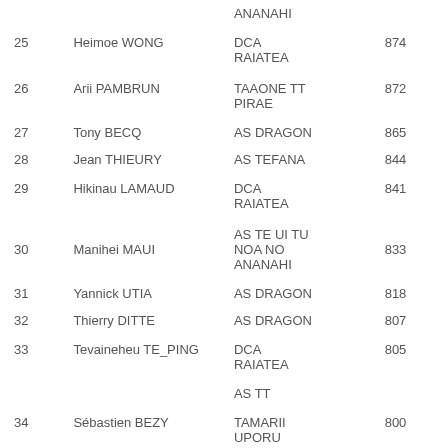| Rank | Name | Club | Score |
| --- | --- | --- | --- |
|  |  | ANANAHI |  |
| 25 | Heimoe WONG | DCA RAIATEA | 874 |
| 26 | Arii PAMBRUN | TAAONE TT PIRAE | 872 |
| 27 | Tony BECQ | AS DRAGON | 865 |
| 28 | Jean THIEURY | AS TEFANA | 844 |
| 29 | Hikinau LAMAUD | DCA RAIATEA | 841 |
|  |  | AS TE UI TU NOA NO |  |
| 30 | Manihei MAUI | ANANAHI | 833 |
| 31 | Yannick UTIA | AS DRAGON | 818 |
| 32 | Thierry DITTE | AS DRAGON | 807 |
| 33 | Tevaineheu TE_PING | DCA RAIATEA | 805 |
|  |  | AS TT |  |
| 34 | Sébastien BEZY | TAMARII UPORU | 800 |
|  |  | DCA |  |
| 35 | Alexandre PONCET |  | 786 |